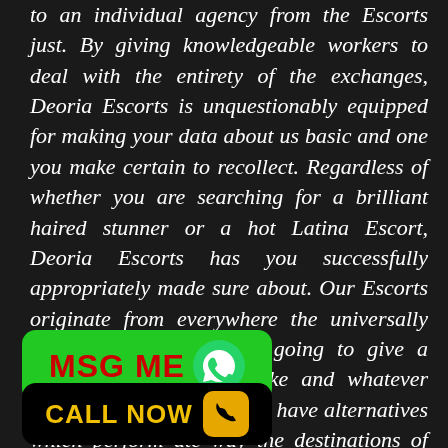to an individual agency from the Escorts just. By giving knowledgeable workers to deal with the entirety of the exchanges, Deoria Escorts is unquestionably equipped for making your data about us basic and one you make certain to recollect. Regardless of whether you are searching for a brilliant haired stunner or a hot Latina Escort, Deoria Escorts has you successfully appropriately made sure about. Our Escorts originate from everywhere the universally world and are probably going to give a night's diversion, truly like and whatever else you can accept off. We have alternatives which perform ate way the destinations of we likewise have students ol that are probably going to satisfaction for very much
[Figure (other): Green MSG ME button with WhatsApp phone icon]
[Figure (other): Black CALL NOW button with yellow phone icon on yellow background]